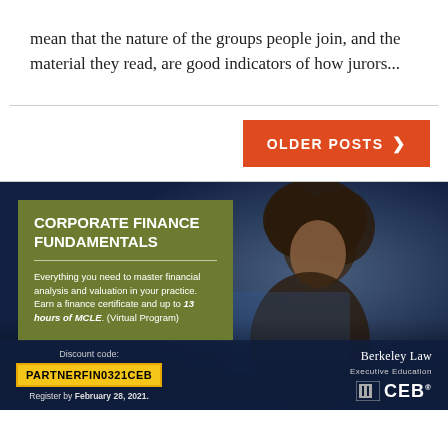mean that the nature of the groups people join, and the material they read, are good indicators of how jurors...
[Figure (other): Orange 'OLDER POSTS >' navigation button]
[Figure (infographic): Berkeley Law / CEB advertisement for Corporate Finance Fundamentals virtual program. Green overlay box with title and description. Discount code PARTNERFIN0321CEB shown in yellow box. Register by February 28, 2021. Berkeley Law Executive Education and CEB logos shown at bottom right.]